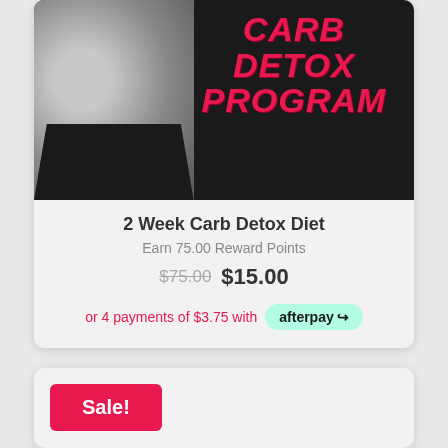[Figure (photo): Product card showing a black and white photo of a person's torso with pink text reading 'CARB DETOX PROGRAM' on a dark background]
2 Week Carb Detox Diet
Earn 75.00 Reward Points
$75.00 $15.00
or 4 payments of $3.75 with afterpay
Sale!